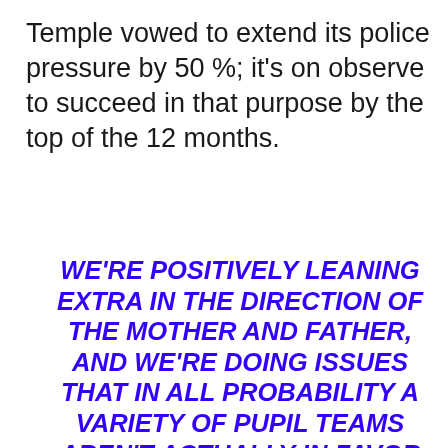Temple vowed to extend its police pressure by 50 %; it's on observe to succeed in that purpose by the top of the 12 months.
WE'RE POSITIVELY LEANING EXTRA IN THE DIRECTION OF THE MOTHER AND FATHER, AND WE'RE DOING ISSUES THAT IN ALL PROBABILITY A VARIETY OF PUPIL TEAMS AREN'T ACTUALLY IN FAVOR OF
We use cookies on our website to give you the most relevant experience by remembering your preferences and repeat visits. By clicking "Accept All", you consent to the use of ALL the cookies. However, you may visit "Cookie Settings" to provide a controlled consent.